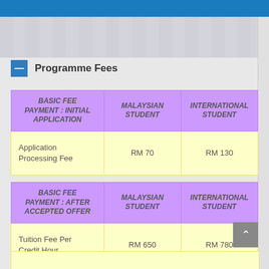Programme Fees
| BASIC FEE PAYMENT : INITIAL APPLICATION | MALAYSIAN STUDENT | INTERNATIONAL STUDENT |
| --- | --- | --- |
| Application Processing Fee | RM 70 | RM 130 |
| BASIC FEE PAYMENT : AFTER ACCEPTED OFFER | MALAYSIAN STUDENT | INTERNATIONAL STUDENT |
| --- | --- | --- |
| Tuition Fee Per Credit Hour | RM 650 | RM 780 |